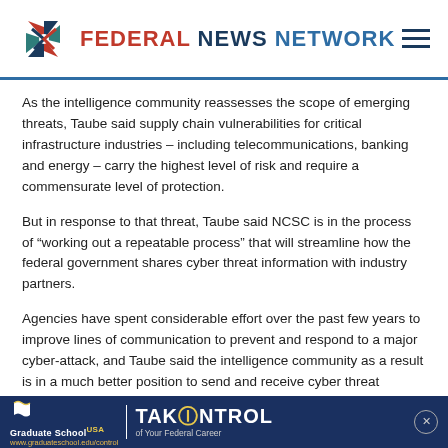FEDERAL NEWS NETWORK
As the intelligence community reassesses the scope of emerging threats, Taube said supply chain vulnerabilities for critical infrastructure industries – including telecommunications, banking and energy – carry the highest level of risk and require a commensurate level of protection.
But in response to that threat, Taube said NCSC is in the process of “working out a repeatable process” that will streamline how the federal government shares cyber threat information with industry partners.
Agencies have spent considerable effort over the past few years to improve lines of communication to prevent and respond to a major cyber-attack, and Taube said the intelligence community as a result is in a much better position to send and receive cyber threat information.
[Figure (advertisement): Graduate School USA / TAKE CONTROL of Your Federal Career advertisement banner with dark blue background]